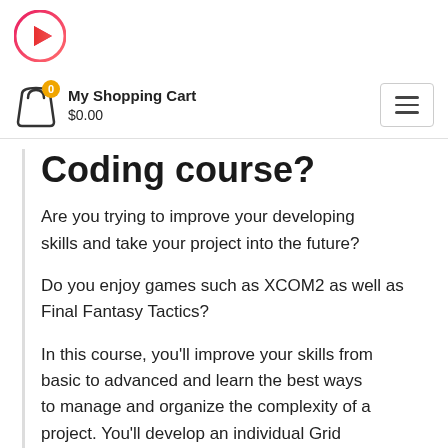[Figure (logo): Circular logo with red play button triangle icon, pink/red gradient ring border]
My Shopping Cart
$0.00
Coding course?
Are you trying to improve your developing skills and take your project into the future?
Do you enjoy games such as XCOM2 as well as Final Fantasy Tactics?
In this course, you'll improve your skills from basic to advanced and learn the best ways to manage and organize the complexity of a project. You'll develop an individual Grid System and master the most advanced Programming concepts, including: C#